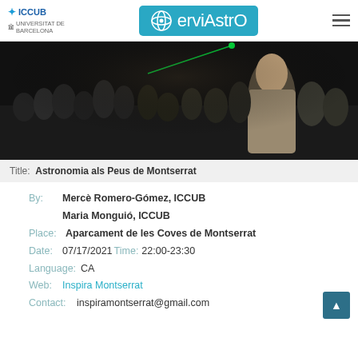ICCUB | Universitat de Barcelona | ServiAstro
[Figure (photo): Crowd of people at an outdoor night astronomy event, some looking up, with a green laser pointer visible in the sky]
Title: Astronomia als Peus de Montserrat
By: Mercè Romero-Gómez, ICCUB
Maria Monguió, ICCUB
Place: Aparcament de les Coves de Montserrat
Date: 07/17/2021 Time: 22:00-23:30
Language: CA
Web: Inspira Montserrat
Contact: inspiramontserrat@gmail.com